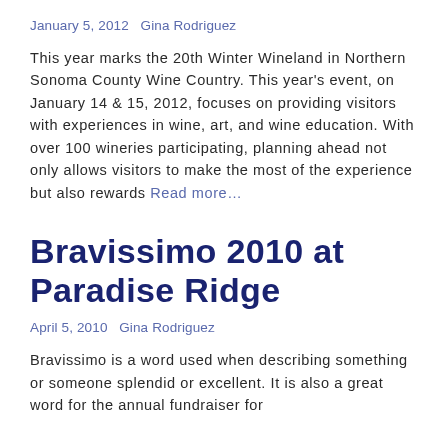January 5, 2012   Gina Rodriguez
This year marks the 20th Winter Wineland in Northern Sonoma County Wine Country. This year's event, on January 14 & 15, 2012, focuses on providing visitors with experiences in wine, art, and wine education. With over 100 wineries participating, planning ahead not only allows visitors to make the most of the experience but also rewards Read more…
Bravissimo 2010 at Paradise Ridge
April 5, 2010   Gina Rodriguez
Bravissimo is a word used when describing something or someone splendid or excellent. It is also a great word for the annual fundraiser for